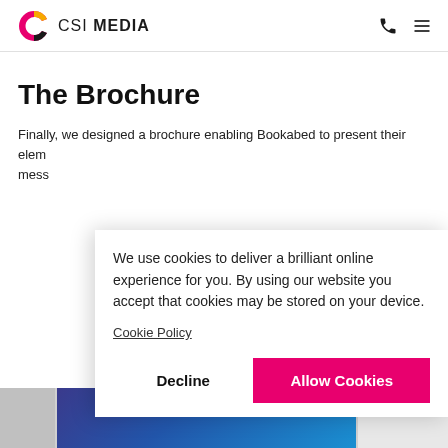CSI MEDIA
The Brochure
Finally, we designed a brochure enabling Bookabed to present their elements and messaging...
We use cookies to deliver a brilliant online experience for you. By using our website you accept that cookies may be stored on your device.
Cookie Policy
Decline | Allow Cookies